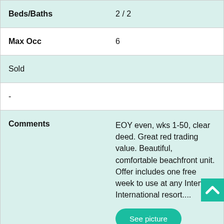| Field | Value |
| --- | --- |
| Beds/Baths | 2 / 2 |
| Max Occ | 6 |
| Sold |  |
| - |  |
| Comments | EOY even, wks 1-50, clear deed. Great red trading value. Beautiful, comfortable beachfront unit. Offer includes one free week to use at any Interval International resort.... |
| Week | Float |